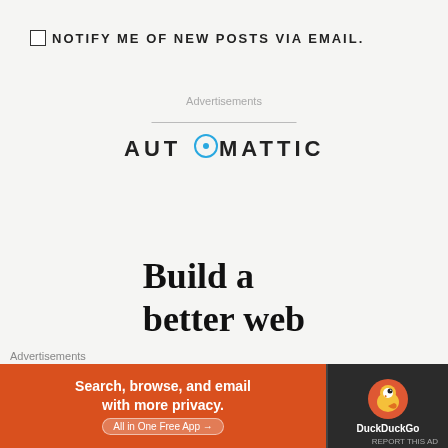NOTIFY ME OF NEW POSTS VIA EMAIL.
Advertisements
[Figure (logo): Automattic logo in dark text with a circular compass icon replacing the letter O]
Build a better web and a
Advertisements
[Figure (infographic): DuckDuckGo advertisement banner: Search, browse, and email with more privacy. All in One Free App. Orange background on left with DuckDuckGo duck logo on dark right side.]